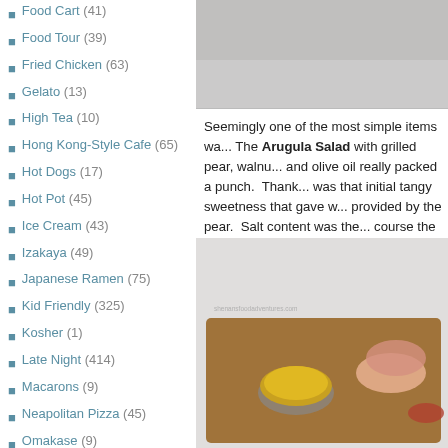Food Cart (41)
Food Tour (39)
Fried Chicken (63)
Gelato (13)
High Tea (10)
Hong Kong-Style Cafe (65)
Hot Dogs (17)
Hot Pot (45)
Ice Cream (43)
Izakaya (49)
Japanese Ramen (75)
Kid Friendly (325)
Kosher (1)
Late Night (414)
Macarons (9)
Neapolitan Pizza (45)
Omakase (9)
Pho (127)
Pizza (102)
Poutine (38)
Push Cart Dim Sum (34)
Ribs (14)
[Figure (photo): Top partial photo with gray/blurred background, top of right column]
Seemingly one of the most simple items wa... The Arugula Salad with grilled pear, walnu... and olive oil really packed a punch.  Thank... was that initial tangy sweetness that gave w... provided by the pear.  Salt content was the... course the pepper-bitterness of the arugula... flavour.
[Figure (photo): Photo of a wooden charcuterie board with a small metal bowl of yellow mustard seeds, sliced meats, and a watermark 'shenansfoodadventures.com']